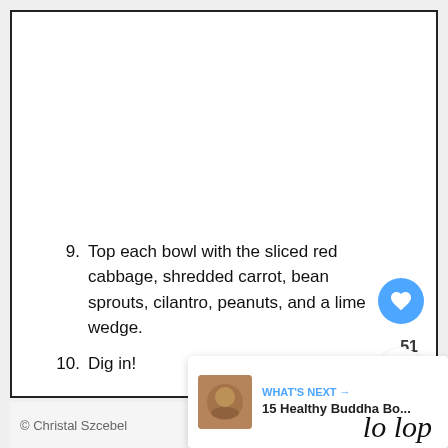9. Top each bowl with the sliced red cabbage, shredded carrot, bean sprouts, cilantro, peanuts, and a lime wedge.
10. Dig in!
© Christal Szcebel    CATEGORY: Main D...